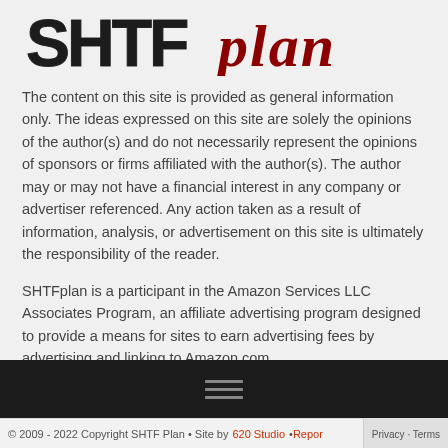[Figure (logo): SHTFplan logo with distressed block letters 'SHTF' in black and 'plan' in dark red italic serif font]
The content on this site is provided as general information only. The ideas expressed on this site are solely the opinions of the author(s) and do not necessarily represent the opinions of sponsors or firms affiliated with the author(s). The author may or may not have a financial interest in any company or advertiser referenced. Any action taken as a result of information, analysis, or advertisement on this site is ultimately the responsibility of the reader.
SHTFplan is a participant in the Amazon Services LLC Associates Program, an affiliate advertising program designed to provide a means for sites to earn advertising fees by advertising and linking to Amazon.com.
© 2009 - 2022 Copyright SHTF Plan • Site by 620 Studio • Report • Privacy · Terms